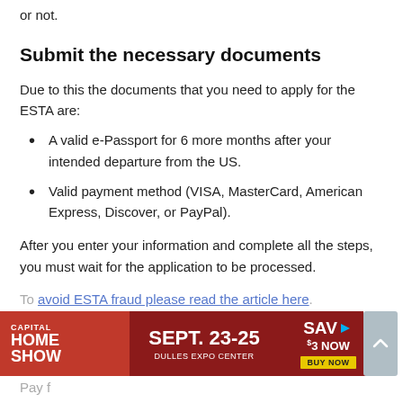or not.
Submit the necessary documents
Due to this the documents that you need to apply for the ESTA are:
A valid e-Passport for 6 more months after your intended departure from the US.
Valid payment method (VISA, MasterCard, American Express, Discover, or PayPal).
After you enter your information and complete all the steps, you must wait for the application to be processed.
To avoid ESTA fraud please read the article here.
[Figure (infographic): Capital Home Show advertisement banner: Sept. 23-25, Dulles Expo Center, Save $3 Now, Buy Now button]
Pay f